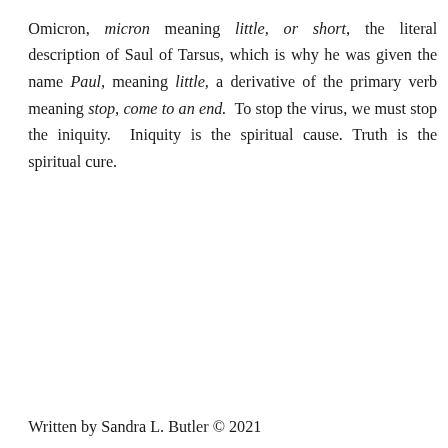Omicron, micron meaning little, or short, the literal description of Saul of Tarsus, which is why he was given the name Paul, meaning little, a derivative of the primary verb meaning stop, come to an end. To stop the virus, we must stop the iniquity. Iniquity is the spiritual cause. Truth is the spiritual cure.
Written by Sandra L. Butler © 2021
BLOG AT WORDPRESS.COM.